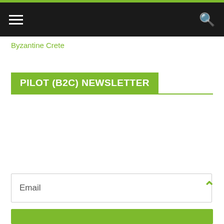Byzantine Crete
PILOT (B2C) NEWSLETTER
Email
[Figure (screenshot): Up arrow / back to top chevron icon in green]